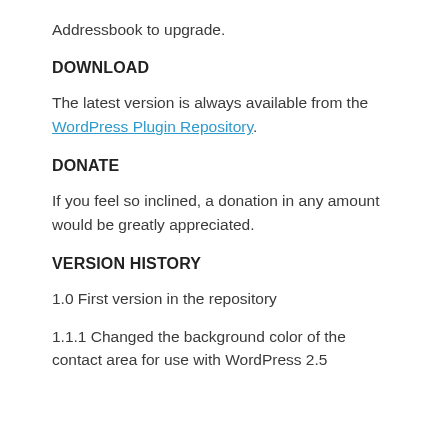Addressbook to upgrade.
DOWNLOAD
The latest version is always available from the WordPress Plugin Repository.
DONATE
If you feel so inclined, a donation in any amount would be greatly appreciated.
VERSION HISTORY
1.0 First version in the repository
1.1.1 Changed the background color of the contact area for use with WordPress 2.5